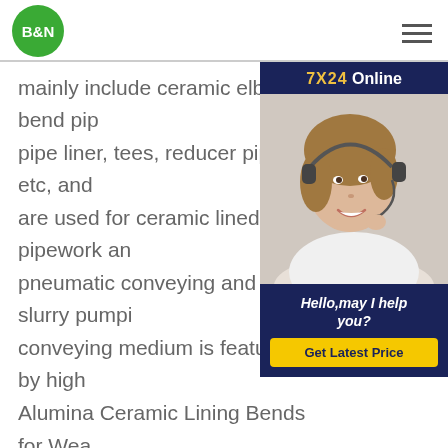B&N
[Figure (other): Customer service chat widget with '7X24 Online' header, photo of a smiling woman with headset, 'Hello, may I help you?' text, and 'Get Latest Price' button]
mainly include ceramic elbow bend pipe liner, tees, reducer pipes, etc, and are used for ceramic lined pipework and pneumatic conveying and slurry pumping. conveying medium is featured by high Alumina Ceramic Lining Bends for Wear PipeAlumina Ceramic Pipe Liner-chemi ceramicsCeramic Tile Liner Weldable alumina tile. Curved Pipe Tile Liner Trapezoidal Pipe Tile. 90 degree pipe elbow Wear Resistant Ceramic Liner. Cyclone Pipe Liner 92% Aluminium Oxide Pipe Ring. 92% High Alumina Grinding Ball Ceramic Liner With Salient Point. Alumina Cylinder Ceramic Rubber